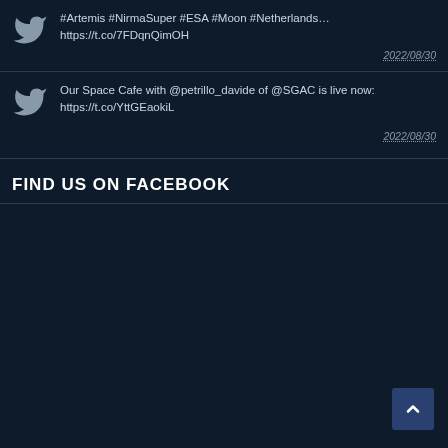#Artemis #NirmaSuper #ESA #Moon #Netherlands… https://t.co/7FDqnQimOH 2022/08/30
Our Space Cafe with @petrillo_davide of @SGAC is live now: https://t.co/YttGEaokiL 2022/08/30
FIND US ON FACEBOOK